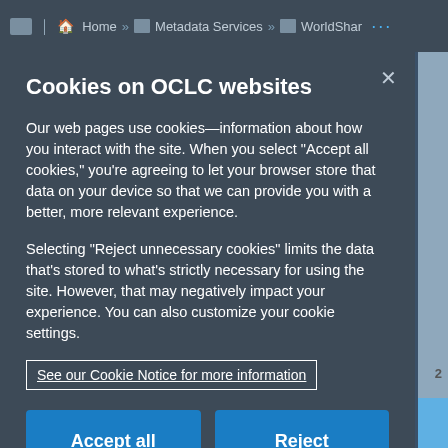Home » Metadata Services » WorldShar...
Cookies on OCLC websites
Our web pages use cookies—information about how you interact with the site. When you select “Accept all cookies,” you're agreeing to let your browser store that data on your device so that we can provide you with a better, more relevant experience.
Selecting “Reject unnecessary cookies” limits the data that’s stored to what’s strictly necessary for using the site. However, that may negatively impact your experience. You can also customize your cookie settings.
See our Cookie Notice for more information
Accept all cookies
Reject unnecessary cookies
Customize cookie settings